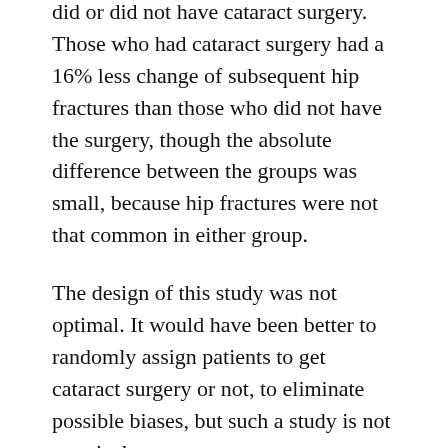did or did not have cataract surgery.  Those who had cataract surgery had a 16% less change of subsequent hip fractures than those who did not have the surgery, though the absolute difference between the groups was small, because hip fractures were not that common in either group.
The design of this study was not optimal. It would have been better to randomly assign patients to get cataract surgery or not, to eliminate possible biases, but such a study is not practical.
We treat osteoporosis with medications such as Fosamax (alendronate) and vitamin D, but that